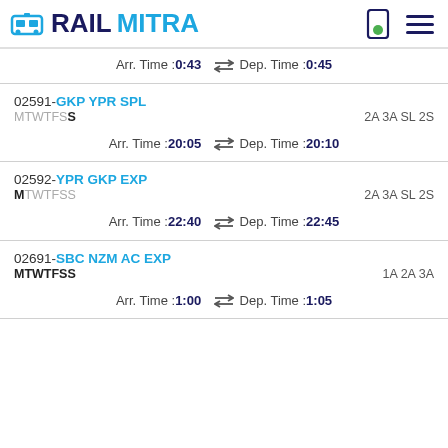RAILMITRA
Arr. Time :0:43  ⇌ Dep. Time :0:45
02591-GKP YPR SPL
MTWTFSS  2A 3A SL 2S
Arr. Time :20:05  ⇌ Dep. Time :20:10
02592-YPR GKP EXP
MTWTFSS  2A 3A SL 2S
Arr. Time :22:40  ⇌ Dep. Time :22:45
02691-SBC NZM AC EXP
MTWTFSS  1A 2A 3A
Arr. Time :1:00  ⇌ Dep. Time :1:05